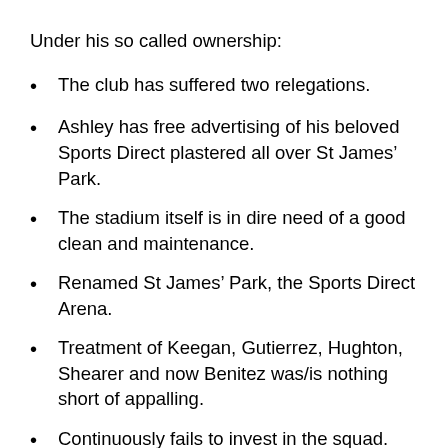Under his so called ownership:
The club has suffered two relegations.
Ashley has free advertising of his beloved Sports Direct plastered all over St James’ Park.
The stadium itself is in dire need of a good clean and maintenance.
Renamed St James’ Park, the Sports Direct Arena.
Treatment of Keegan, Gutierrez, Hughton, Shearer and now Benitez was/is nothing short of appalling.
Continuously fails to invest in the squad.
Training ground facilities and academy are mediocre at best.
The points listed above are just a few of the poor